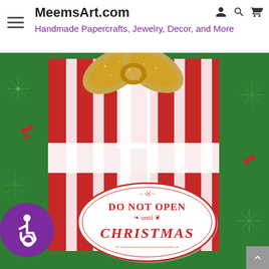MeemsArt.com — Handmade Papercrafts, Jewelry, Decor, and More
[Figure (photo): A handmade Christmas card featuring a red-and-white striped gift box design with a gold glitter bow on top, set against a green holiday-patterned background with snowflakes and berries. A white satin ribbon crosses the gift. An oval label reads 'DO NOT OPEN until CHRISTMAS' in dark red script and serif text.]
[Figure (illustration): Purple circle accessibility icon (wheelchair user symbol) in the bottom-left corner of the page.]